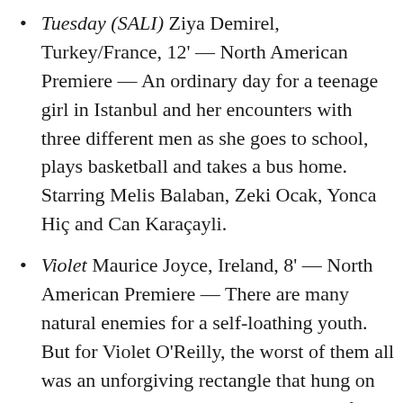Tuesday (SALI) Ziya Demirel, Turkey/France, 12' — North American Premiere — An ordinary day for a teenage girl in Istanbul and her encounters with three different men as she goes to school, plays basketball and takes a bus home. Starring Melis Balaban, Zeki Ocak, Yonca Hiç and Can Karaçayli.
Violet Maurice Joyce, Ireland, 8' — North American Premiere — There are many natural enemies for a self-loathing youth. But for Violet O'Reilly, the worst of them all was an unforgiving rectangle that hung on the wall. Violet is the cautionary tale of a young girl who despises her reflection. Tired of the abuse, Violet's reflection